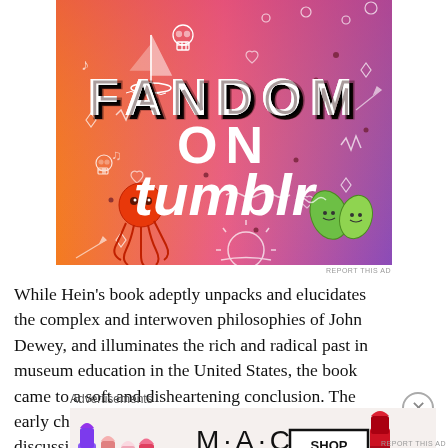[Figure (illustration): Colorful advertisement for 'Fandom on Tumblr' with orange-to-purple gradient background, white doodle illustrations including skulls, boats, music notes, arrows, hearts, octopus, and leaves. Large bold text reads 'FANDOM ON tumblr'.]
REPORT THIS AD
While Hein's book adeptly unpacks and elucidates the complex and interwoven philosophies of John Dewey, and illuminates the rich and radical past in museum education in the United States, the book came to a soft and disheartening conclusion. The early chapters of this book were filled will discussions of
Advertisements
[Figure (photo): MAC cosmetics advertisement showing colorful lipsticks (purple, pink shades, red) with MAC logo and 'SHOP NOW' button in a black bordered box.]